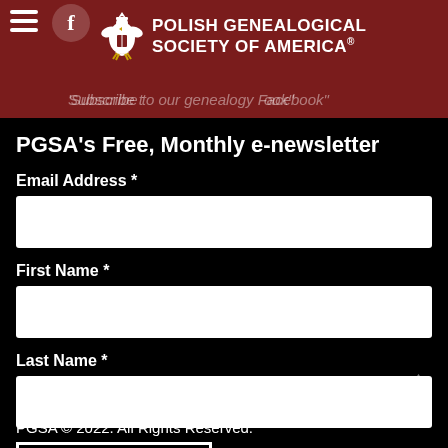Polish Genealogical Society of America® — Subscribe to our genealogy Facebook
PGSA's Free, Monthly e-newsletter
Email Address *
First Name *
Last Name *
Subscribe
PGSA © 2022. All Rights Reserved.